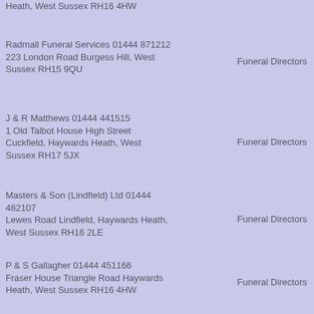Heath, West Sussex RH16 4HW
Radmall Funeral Services 01444 871212
223 London Road Burgess Hill, West Sussex RH15 9QU
Funeral Directors
J & R Matthews 01444 441515
1 Old Talbot House High Street Cuckfield, Haywards Heath, West Sussex RH17 5JX
Funeral Directors
Masters & Son (Lindfield) Ltd 01444 482107
Lewes Road Lindfield, Haywards Heath, West Sussex RH16 2LE
Funeral Directors
P & S Gallagher 01444 451166
Fraser House Triangle Road Haywards Heath, West Sussex RH16 4HW
Funeral Directors
W M Collins & Son 01444 871515
43 Station Road Burgess Hill, West
Funeral Directors